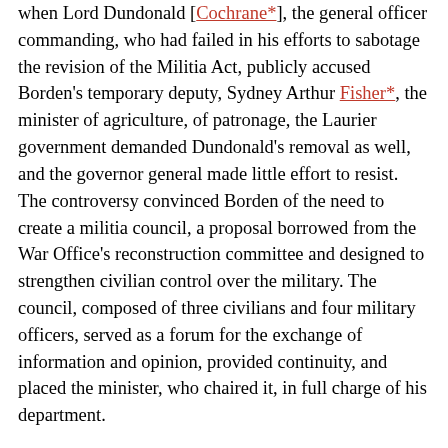when Lord Dundonald [Cochrane*], the general officer commanding, who had failed in his efforts to sabotage the revision of the Militia Act, publicly accused Borden's temporary deputy, Sydney Arthur Fisher*, the minister of agriculture, of patronage, the Laurier government demanded Dundonald's removal as well, and the governor general made little effort to resist. The controversy convinced Borden of the need to create a militia council, a proposal borrowed from the War Office's reconstruction committee and designed to strengthen civilian control over the military. The council, composed of three civilians and four military officers, served as a forum for the exchange of information and opinion, provided continuity, and placed the minister, who chaired it, in full charge of his department.
Another political controversy entailed charges that Borden had knowingly procured a fraudulent concentrated food powder for emergency use by Canada's second contingent of troops for South Africa, thereby endangering their lives. The product had been developed by the Hatch Protose Company of Montreal and sold to